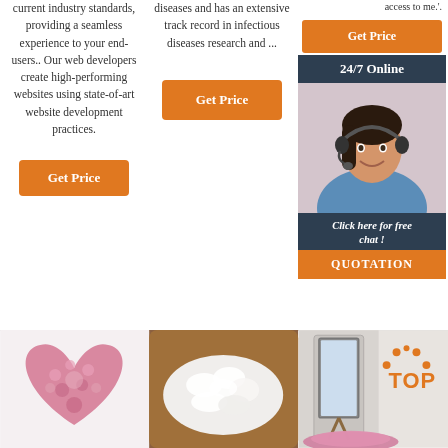current industry standards, providing a seamless experience to your end-users.. Our web developers create high-performing websites using state-of-art website development practices.
[Figure (other): Orange 'Get Price' button in column 1]
diseases and has an extensive track record in infectious diseases research and ...
[Figure (other): Orange 'Get Price' button in column 2]
access to me.'.
[Figure (other): Right side widget with Get Price button, 24/7 Online bar, woman with headset photo, Click here for free chat! text, and QUOTATION button]
[Figure (photo): Pink heart-shaped fluffy cushion product photo]
[Figure (photo): White fluffy sheepskin rug on brown leather sofa product photo]
[Figure (photo): Pink fluffy rug near mirror with TOP logo/badge product photo]